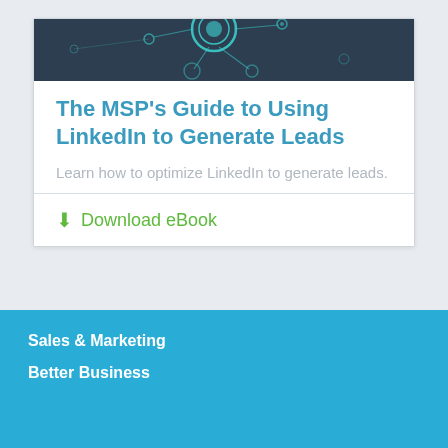[Figure (illustration): Dark teal/navy background with network/connection diagram showing circular nodes and lines, partial view of an eBook cover graphic]
The MSP’s Guide to Using LinkedIn to Generate Leads
Learn how to optimize LinkedIn to generate leads.
⬇ Download eBook
Sales & Marketing
Better Business